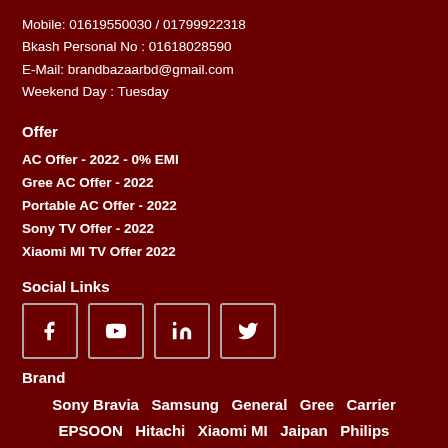Mobile: 01619550030 / 01799922318
Bkash Personal No : 01618028590
E-Mail: brandbazaarbd@gmail.com
Weekend Day : Tuesday
Offer
AC Offer - 2022 - 0% EMI
Gree AC Offer - 2022
Portable AC Offer - 2022
Sony TV Offer - 2022
Xiaomi MI TV Offer 2022
Social Links
[Figure (infographic): Four social media icons in bordered boxes: Facebook, YouTube, LinkedIn, Twitter]
Brand
Sony Bravia  Samsung  General  Gree  Carrier
EPSOON  Hitachi  Xiaomi MI  Jaipan  Philips
Panasonic  Midea  Ariston  Globe Aire  Daikin